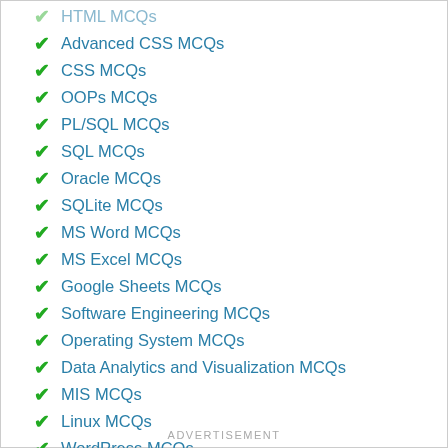HTML MCQs
Advanced CSS MCQs
CSS MCQs
OOPs MCQs
PL/SQL MCQs
SQL MCQs
Oracle MCQs
SQLite MCQs
MS Word MCQs
MS Excel MCQs
Google Sheets MCQs
Software Engineering MCQs
Operating System MCQs
Data Analytics and Visualization MCQs
MIS MCQs
Linux MCQs
WordPress MCQs
Blogging MCQs
ADVERTISEMENT